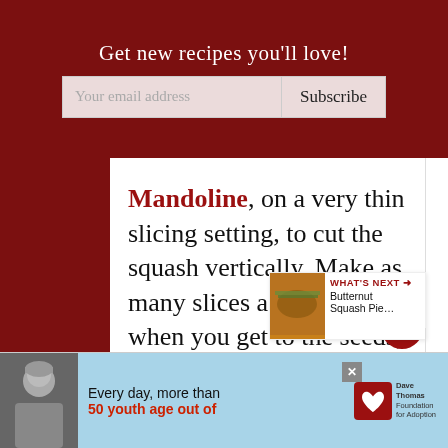Get new recipes you'll love!
Mandoline, on a very thin slicing setting, to cut the squash vertically. Make as many slices as possible -- when you get to the seeds, just start slicing the other side. It's okay if some of the slices have the center hole in them -- your slices will not all be the same size and many will be irregularly shaped. (Refer to the image above the recipe for g... And if you don't have a Mandoline,
[Figure (infographic): WHAT'S NEXT arrow label with thumbnail image of butternut squash pie and text 'Butternut Squash Pie...']
[Figure (infographic): Advertisement banner: person in winter hat, blue background text 'Every day, more than 50 youth age out of', Dave Thomas Foundation for Adoption logo, close button]